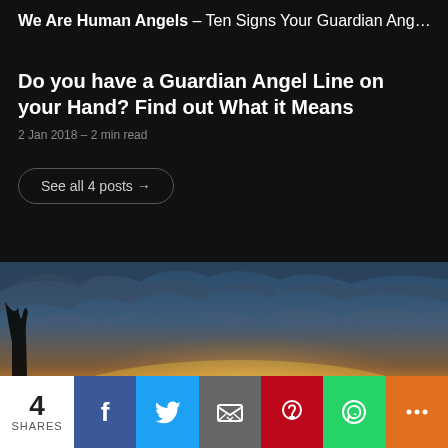We Are Human Angels – Ten Signs Your Guardian Ang…
Do you have a Guardian Angel Line on your Hand? Find out What it Means
2 Jan 2018 – 2 min read
See all 4 posts →
[Figure (photo): Dramatic sunset sky with orange and golden clouds against blue sky]
4 SHARES